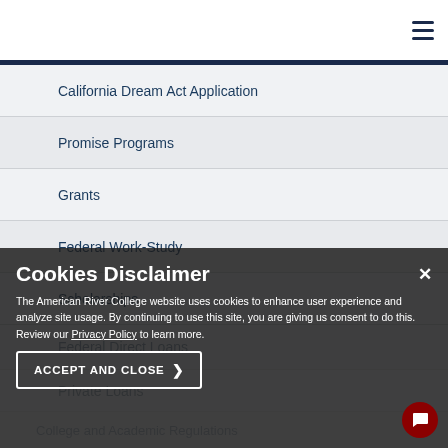American River College navigation header with hamburger menu
California Dream Act Application
Promise Programs
Grants
Federal Work-Study
Scholarships
Federal Direct Loans
Private Loans
College and Academic Regulations
English, Spanish, and Alternative Credit/Study Options
AP Test Scores
CLEP Scores
Cookies Disclaimer

The American River College website uses cookies to enhance user experience and analyze site usage. By continuing to use this site, you are giving us consent to do this. Review our Privacy Policy to learn more.

ACCEPT AND CLOSE